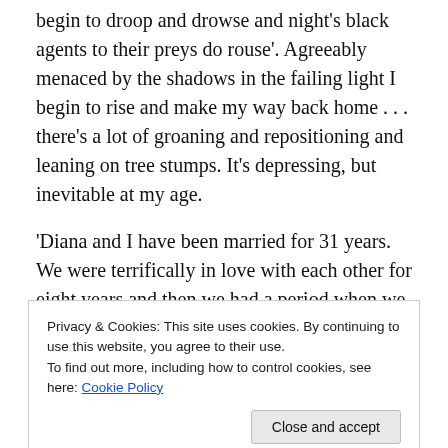begin to droop and drowse and night's black agents to their preys do rouse'. Agreeably menaced by the shadows in the failing light I begin to rise and make my way back home . . . there's a lot of groaning and repositioning and leaning on tree stumps. It's depressing, but inevitable at my age.
'Diana and I have been married for 31 years. We were terrifically in love with each other for eight years and then we had a period when we wandered. Nowadays things run pretty smoothly, which no doubt has to do with one of the
Privacy & Cookies: This site uses cookies. By continuing to use this website, you agree to their use.
To find out more, including how to control cookies, see here: Cookie Policy
some strong provocation, I could resurrect myself. But I'm